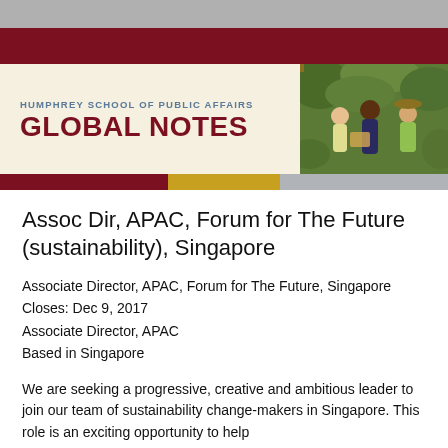HUMPHREY SCHOOL OF PUBLIC AFFAIRS — GLOBAL NOTES
Assoc Dir, APAC, Forum for The Future (sustainability), Singapore
Associate Director, APAC, Forum for The Future, Singapore
Closes: Dec 9, 2017
Associate Director, APAC
Based in Singapore
We are seeking a progressive, creative and ambitious leader to join our team of sustainability change-makers in Singapore. This role is an exciting opportunity to help